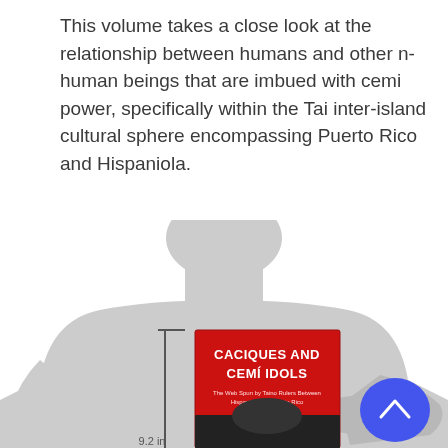This volume takes a close look at the relationship between humans and other n-human beings that are imbued with cemi power, specifically within the Tai inter-island cultural sphere encompassing Puerto Rico and Hispaniola.
[Figure (illustration): Size comparison illustration showing a human silhouette figure in gray holding a red book titled 'CACIQUES AND CEMI IDOLS: The Web Spun by Taino Rulers Between Hispaniola and Puerto Rico'. A vertical measurement line indicates 9.2 in. A blue rounded button with an upward caret arrow is visible in the lower right area.]